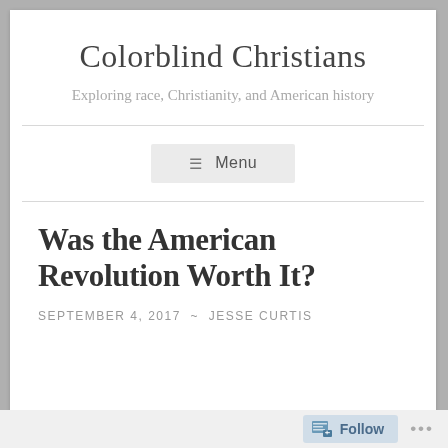Colorblind Christians
Exploring race, Christianity, and American history
Menu
Was the American Revolution Worth It?
SEPTEMBER 4, 2017  ~  JESSE CURTIS
Follow ...